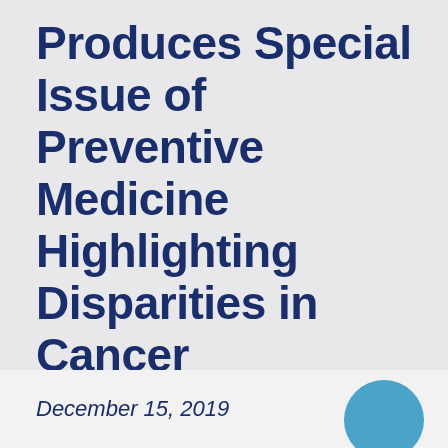Produces Special Issue of Preventive Medicine Highlighting Disparities in Cancer Prevention and Control
December 15, 2019